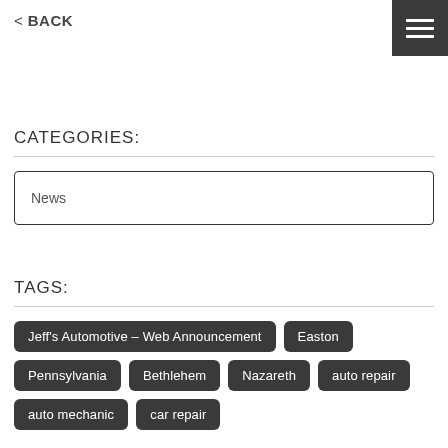< BACK
CATEGORIES:
News
TAGS:
Jeff's Automotive – Web Announcement
Easton
Pennsylvania
Bethlehem
Nazareth
auto repair
auto mechanic
car repair